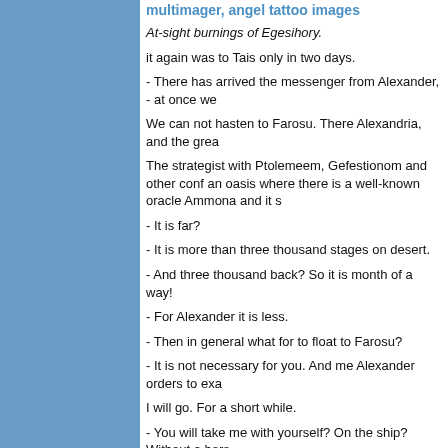multimager, angel tattoo images
At-sight burnings of Egesihory.
it again was to Tais only in two days.
- There has arrived the messenger from Alexander, - at once we
We can not hasten to Farosu. There Alexandria, and the grea
The strategist with Ptolemeem, Gefestionom and other conf an oasis where there is a well-known oracle Ammona and it s
- It is far?
- It is more than three thousand stages on desert.
- And three thousand back? So it is month of a way!
- For Alexander it is less.
- Then in general what for to float to Farosu?
- It is not necessary for you. And me Alexander orders to exa
I will go. For a short while.
- You will take me with yourself? On the ship? Without a hors
- Willingly. Only what for to you?
- To look Faros. I wished to see the sea, and at all with - slave also.
it has told to the merchant about fast departure, and it has be
To "take" it in the house and to sign a marriage condition. In s